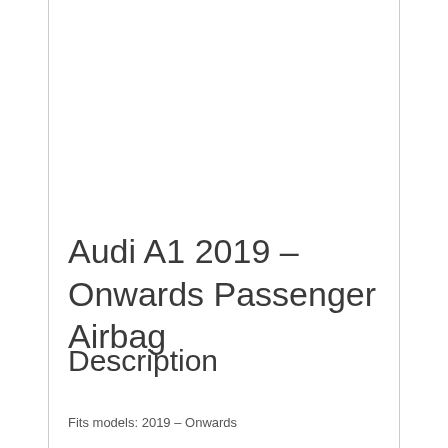Audi A1 2019 – Onwards Passenger Airbag
Description
Fits models: 2019 – Onwards